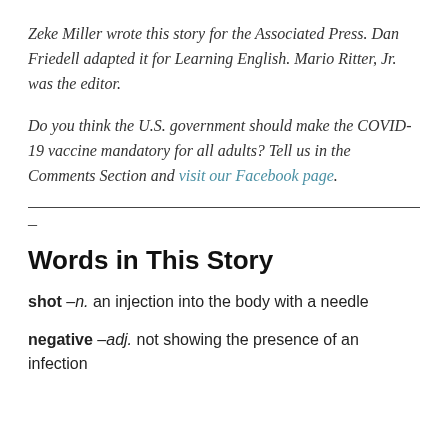Zeke Miller wrote this story for the Associated Press. Dan Friedell adapted it for Learning English. Mario Ritter, Jr. was the editor.
Do you think the U.S. government should make the COVID-19 vaccine mandatory for all adults? Tell us in the Comments Section and visit our Facebook page.
Words in This Story
shot –n. an injection into the body with a needle
negative –adj. not showing the presence of an infection